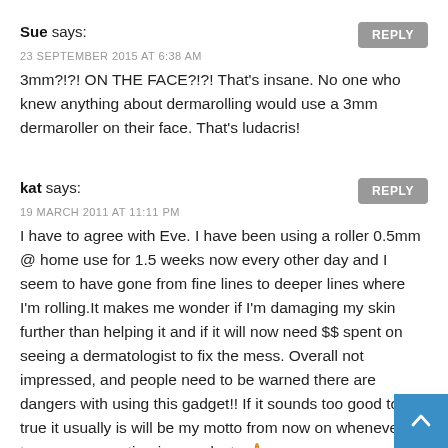Sue says:
23 SEPTEMBER 2015 AT 6:38 AM
3mm?!?! ON THE FACE?!?! That’s insane. No one who knew anything about dermarolling would use a 3mm dermaroller on their face. That’s ludacris!
kat says:
19 MARCH 2011 AT 11:11 PM
I have to agree with Eve. I have been using a roller 0.5mm @ home use for 1.5 weeks now every other day and I seem to have gone from fine lines to deeper lines where I’m rolling.It makes me wonder if I’m damaging my skin further than helping it and if it will now need $$ spent on seeing a dermatologist to fix the mess. Overall not impressed, and people need to be warned there are dangers with using this gadget!! If it sounds too good to be true it usually is will be my motto from now on whenever i try any more anti-aging products 😟